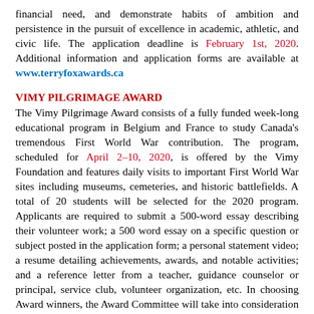financial need, and demonstrate habits of ambition and persistence in the pursuit of excellence in academic, athletic, and civic life. The application deadline is February 1st, 2020. Additional information and application forms are available at www.terryfoxawards.ca
VIMY PILGRIMAGE AWARD
The Vimy Pilgrimage Award consists of a fully funded week-long educational program in Belgium and France to study Canada's tremendous First World War contribution. The program, scheduled for April 2–10, 2020, is offered by the Vimy Foundation and features daily visits to important First World War sites including museums, cemeteries, and historic battlefields. A total of 20 students will be selected for the 2020 program. Applicants are required to submit a 500-word essay describing their volunteer work; a 500 word essay on a specific question or subject posted in the application form; a personal statement video; a resume detailing achievements, awards, and notable activities; and a reference letter from a teacher, guidance counselor or principal, service club, volunteer organization, etc. In choosing Award winners, the Award Committee will take into consideration all elements submitted for the application with special emphasis placed on the applicant's volunteer work and service to their